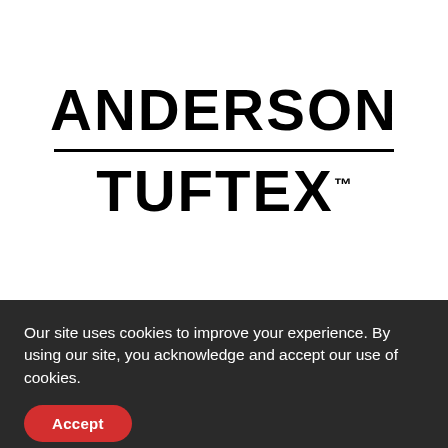[Figure (logo): Anderson Tuftex brand logo: 'ANDERSON' in large bold black text, a horizontal black dividing line, then 'TUFTEX™' in large bold black text below, on a white background.]
Our site uses cookies to improve your experience. By using our site, you acknowledge and accept our use of cookies.
Accept